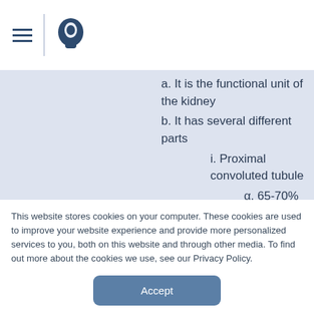a. It is the functional unit of the kidney
b. It has several different parts
i. Proximal convoluted tubule
α. 65-70% of sodium is reabsorbed here
β. Diuretics do NOT affect this part of the nephron
ii. Descending loop of Henle
iii. Loop of Henle
This website stores cookies on your computer. These cookies are used to improve your website experience and provide more personalized services to you, both on this website and through other media. To find out more about the cookies we use, see our Privacy Policy.